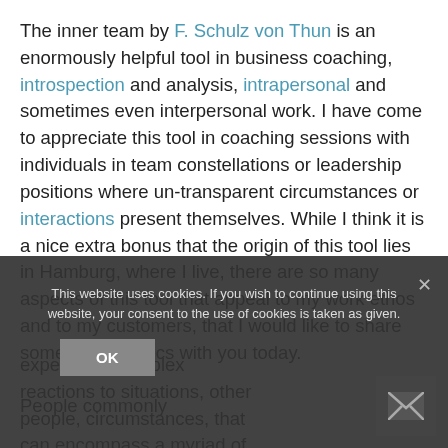The inner team by F. Schulz von Thun is an enormously helpful tool in business coaching, introspection and analysis, intrapersonal and sometimes even interpersonal work. I have come to appreciate this tool in coaching sessions with individuals in team constellations or leadership positions where un-transparent circumstances or interactions present themselves. While I think it is a nice extra bonus that the origin of this tool lies in Hamburg, where I live, there are so many aspects of this tool that appeal to my work ethos and to my customers, that I would like to share some of the basics with you today.
People commonly experience complex reactions to situations, other people, circumstances, that can encompass a myriad of emotions, some
This website uses cookies. If you wish to continue using this website, your consent to the use of cookies is taken as given.